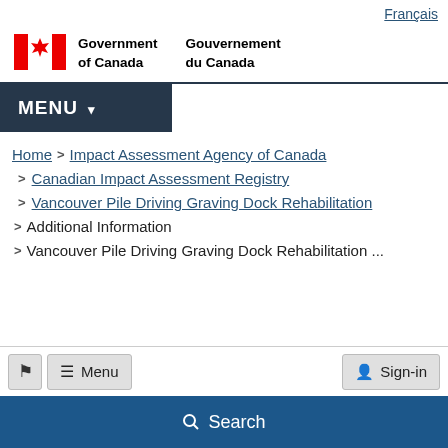Français
[Figure (logo): Government of Canada / Gouvernement du Canada logo with red maple leaf flag symbol]
MENU
Home > Impact Assessment Agency of Canada > Canadian Impact Assessment Registry > Vancouver Pile Driving Graving Dock Rehabilitation > Additional Information > Vancouver Pile Driving Graving Dock Rehabilitation ...
Menu
Sign-in
Search